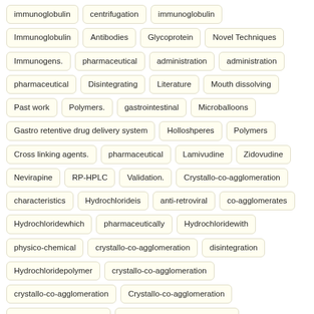immunoglobulin | centrifugation | immunoglobulin | Immunoglobulin | Antibodies | Glycoprotein | Novel Techniques | Immunogens. | pharmaceutical | administration | administration | pharmaceutical | Disintegrating | Literature | Mouth dissolving | Past work | Polymers. | gastrointestinal | Microballoons | Gastro retentive drug delivery system | Holloshperes | Polymers | Cross linking agents. | pharmaceutical | Lamivudine | Zidovudine | Nevirapine | RP-HPLC | Validation. | Crystallo-co-agglomeration | characteristics | Hydrochlorideis | anti-retroviral | co-agglomerates | Hydrochloridewhich | pharmaceutically | Hydrochloridewith | physico-chemical | crystallo-co-agglomeration | disintegration | Hydrochloridepolymer | crystallo-co-agglomeration | crystallo-co-agglomeration | Crystallo-co-agglomeration | Yohimbine Hydrochloride | Scanning Electron Microscopy